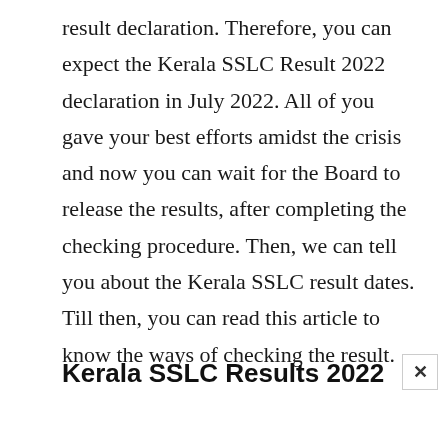result declaration. Therefore, you can expect the Kerala SSLC Result 2022 declaration in July 2022. All of you gave your best efforts amidst the crisis and now you can wait for the Board to release the results, after completing the checking procedure. Then, we can tell you about the Kerala SSLC result dates. Till then, you can read this article to know the ways of checking the result.
Kerala SSLC Results 2022